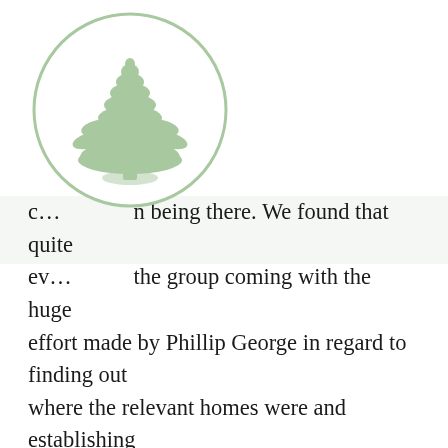[Figure (logo): A circular logo with a light green cedar tree illustration inside a thin green circle border, on a white background.]
c… n being there. We found that quite ev… the group coming with the huge effort made by Phillip George in regard to finding out where the relevant homes were and establishing family connections where he could. I personally haven't done so much walking in years and having to translate really helped improve my language skills, but when you saw the looks on everyone's faces it was worth every step. Everybody was so hospitable and we have never been invited into so many homes for coffee and food. Phillip's tireless work and documentation will make it so much easier for future journeys.